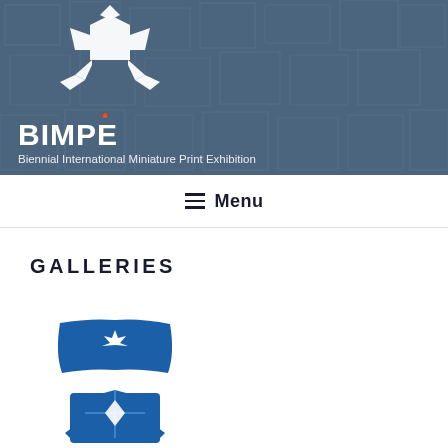[Figure (illustration): BIMPE header banner with blue-tinted collage of postage stamps in background, white origami frog logo above text]
BIMPE
Biennial International Miniature Print Exhibition
☰ Menu
GALLERIES
[Figure (logo): Blue and white maple leaf logo with origami frog figure below, representing BIMPE]